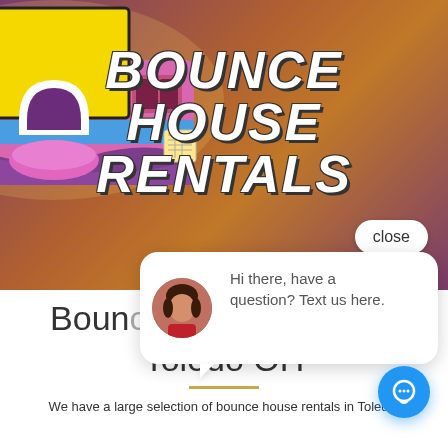[Figure (photo): A colorful inflatable bounce house with pink, purple, blue and yellow colors on a gradient purple-orange background. Large bold white italic text reads 'BOUNCE HOUSE RENTALS' overlaid on the lower portion of the image.]
close
[Figure (screenshot): A chat popup widget with a female avatar and the message: 'Hi there, have a question? Text us here.']
Bounce House Rentals Toledo OH
We have a large selection of bounce house rentals in Toledo,